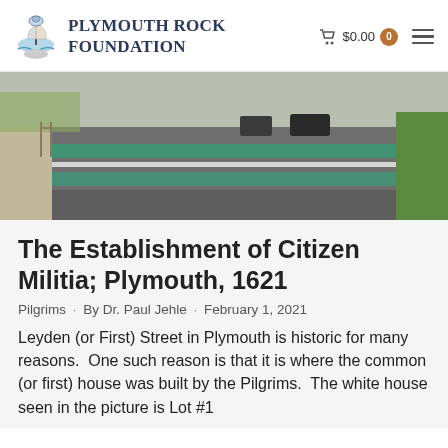Plymouth Rock Foundation  $0.00  0
[Figure (photo): Street-level photo of Leyden (or First) Street in Plymouth, showing asphalt road with green-painted crosswalk stripes, parked cars in background, and hedgerow on right side.]
The Establishment of Citizen Militia; Plymouth, 1621
Pilgrims · By Dr. Paul Jehle · February 1, 2021
Leyden (or First) Street in Plymouth is historic for many reasons.  One such reason is that it is where the common (or first) house was built by the Pilgrims.  The white house seen in the picture is Lot #1